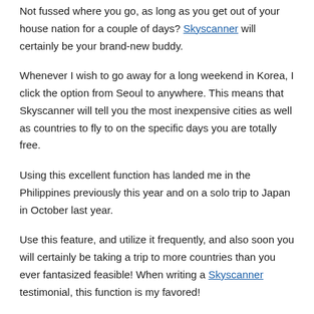Not fussed where you go, as long as you get out of your house nation for a couple of days? Skyscanner will certainly be your brand-new buddy.
Whenever I wish to go away for a long weekend in Korea, I click the option from Seoul to anywhere. This means that Skyscanner will tell you the most inexpensive cities as well as countries to fly to on the specific days you are totally free.
Using this excellent function has landed me in the Philippines previously this year and on a solo trip to Japan in October last year.
Use this feature, and utilize it frequently, and also soon you will certainly be taking a trip to more countries than you ever fantasized feasible! When writing a Skyscanner testimonial, this function is my favored!